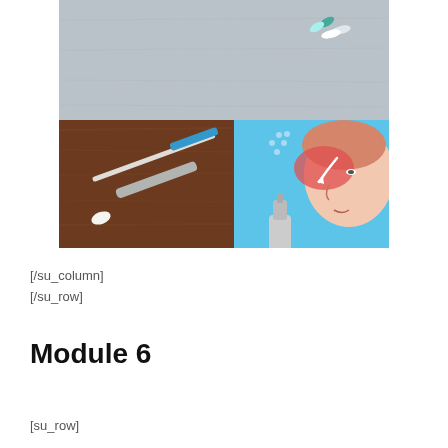[Figure (illustration): Composite image of three photos: top panel shows pills/capsules on a grey textured surface; bottom-left shows a nasal swab and plastic tube on a wooden surface; bottom-right shows a medical illustration of nasal spray being administered, with a cross-section of the nasal passage highlighted in red with an arrow showing direction.]
[/su_column]
[/su_row]
Module 6
[su_row]